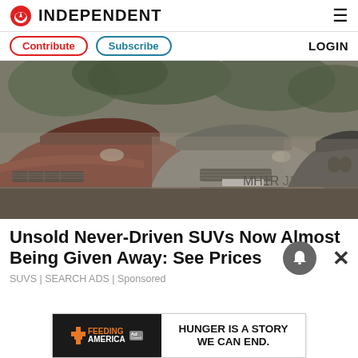INDEPENDENT
Contribute | Subscribe | LOGIN
[Figure (photo): Three dusty luxury cars parked outdoors: a red Porsche on the left, a silver Toyota in the center, and a dark BMW on the right, all covered in dust under tree shade.]
Unsold Never-Driven SUVs Now Almost Being Given Away: See Prices
SUVS | SEARCH ADS | Sponsored